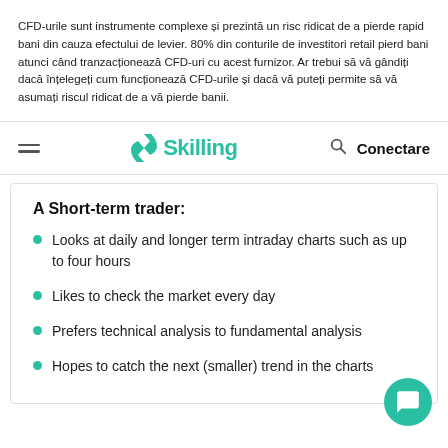CFD-urile sunt instrumente complexe și prezintă un risc ridicat de a pierde rapid bani din cauza efectului de levier. 80% din conturile de investitori retail pierd bani atunci când tranzacționează CFD-uri cu acest furnizor. Ar trebui să vă gândiți dacă înțelegeți cum funcționează CFD-urile și dacă vă puteți permite să vă asumați riscul ridicat de a vă pierde banii.
Skilling  Conectare
A Short-term trader:
Looks at daily and longer term intraday charts such as up to four hours
Likes to check the market every day
Prefers technical analysis to fundamental analysis
Hopes to catch the next (smaller) trend in the charts